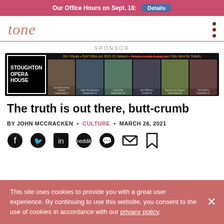Our Office Hours on Sept. 16: Details
[Figure (logo): Tone magazine logo - stylized italic 'tone' text in salmon/copper color]
SPONSOR
[Figure (photo): Stoughton Opera House advertisement banner. 60+ Shows. Don't Miss our 2022-23 Season. Tickets on sale August 1st. Click Here for Tickets. Shows: David Bromberg Quintet September 9, Jake Shimabukuro September 17, Della Mae September 23, Dar Williams October 8, Squirrel Nut Zippers November 10, DeVotchKa November 11.]
The truth is out there, butt-crumb
BY JOHN MCCRACKEN  •  CULTURE  •  MARCH 26, 2021
[Figure (infographic): Social sharing icons: Facebook, Twitter, LinkedIn, Reddit, WhatsApp, Email, Bookmark]
This site uses cookies to provide you with a great user experience. By continuing to use this website, you consent to the use of cookies in accordance with our privacy policy.